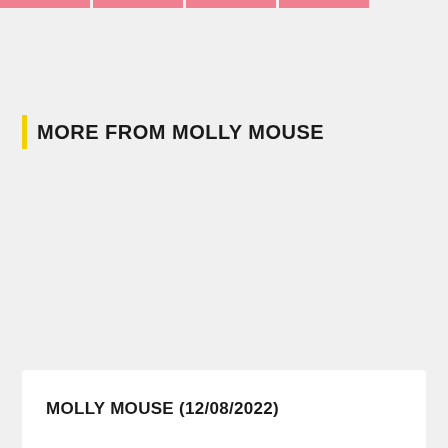[Figure (other): Four pink/salmon colored horizontal bar segments at the top of the page forming a decorative header strip]
MORE FROM MOLLY MOUSE
MOLLY MOUSE (12/08/2022)